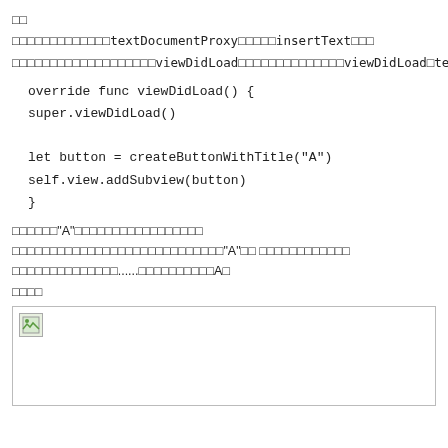□□
□□□□□□□□□□□□□textDocumentProxy□□□□□insertText□□□
□□□□□□□□□□□□□□□□□□□viewDidLoad□□□□□□□□□□□□□□viewDidLoad□textDidChang
override func viewDidLoad() {
super.viewDidLoad()
let button = createButtonWithTitle("A")
self.view.addSubview(button)
}
□□□□□□"A"□□□□□□□□□□□□□□□□□
□□□□□□□□□□□□□□□□□□□□□□□□□□□□"A"□□ □□□□□□□□□□□□
□□□□□□□□□□□□□□......□□□□□□□□□□A□
□□□□
[Figure (photo): Broken image placeholder with small image icon in top-left corner, bordered box]